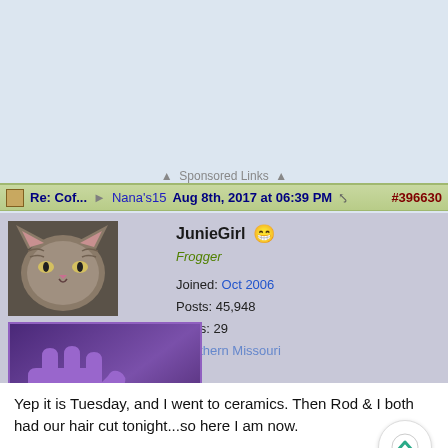[Figure (other): Top advertisement/banner area, light blue background, empty ad space]
▲  Sponsored Links  ▲
Re: Cof... → Nana's15   Aug 8th, 2017 at 06:39 PM  #396630
JunieGirl  😁
Frogger
Joined: Oct 2006
Posts: 45,948
Likes: 29
Southern Missouri
[Figure (illustration): Purple 'Hey!' image with a large purple hand and red italic 'Hey!' text]
[Figure (illustration): Hostess badge — dark purple rectangle with gold/orange border and orange small-caps text 'Hostess']
Yep it is Tuesday, and I went to ceramics. Then Rod & I both had our hair cut tonight...so here I am now.

We went to get another bag of mulch tonight at Walmart--what they had left was gone, so Rod said he would take me to the Lowes in